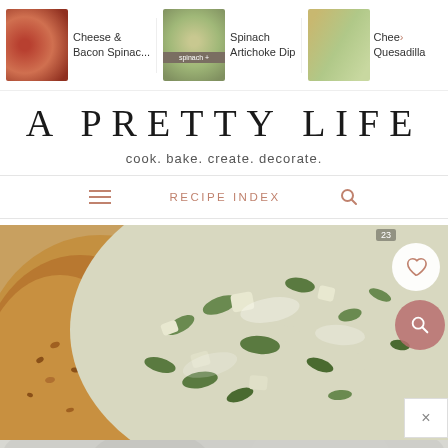[Figure (screenshot): Website screenshot of 'A Pretty Life' food blog showing carousel of recipe thumbnails at top, site title and tagline, navigation bar with Recipe Index link, and a large food photo of spinach artichoke dip in a bread bowl]
Cheese & Bacon Spinac... | Spinach Artichoke Dip | Chee> Quesadilla
A PRETTY LIFE
cook. bake. create. decorate.
RECIPE INDEX
[Figure (photo): Close-up photo of spinach artichoke dip in a bread bowl, creamy green-white filling visible, seeded bread crust on left side. Heart and search overlay buttons on right.]